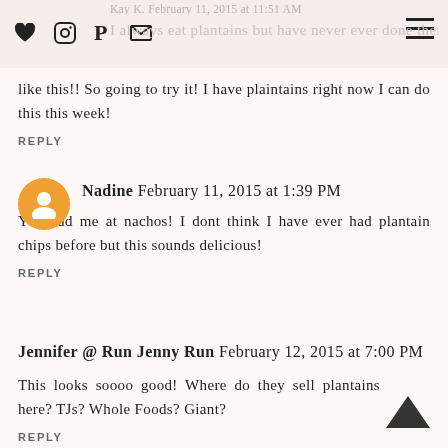Kay K. February 11, 2015 at 11:51 AM — I always eat plantains but have never ever done them like this!!
like this!! So going to try it! I have plaintains right now I can do this this week!
REPLY
Nadine February 11, 2015 at 1:39 PM
You had me at nachos! I dont think I have ever had plantain chips before but this sounds delicious!
REPLY
Jennifer @ Run Jenny Run February 12, 2015 at 7:00 PM
This looks soooo good! Where do they sell plantains here? TJs? Whole Foods? Giant?
REPLY